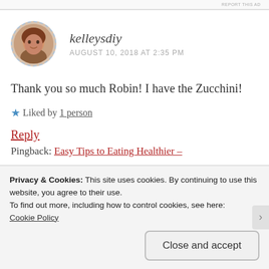REPORT THIS AD
[Figure (photo): Circular avatar photo of a woman with red/brown hair, used as a commenter profile picture]
kelleysdiy
AUGUST 10, 2018 AT 2:35 PM
Thank you so much Robin! I have the Zucchini!
★ Liked by 1 person
Reply
Pingback: Easy Tips to Eating Healthier –
Privacy & Cookies: This site uses cookies. By continuing to use this website, you agree to their use.
To find out more, including how to control cookies, see here:
Cookie Policy
Close and accept